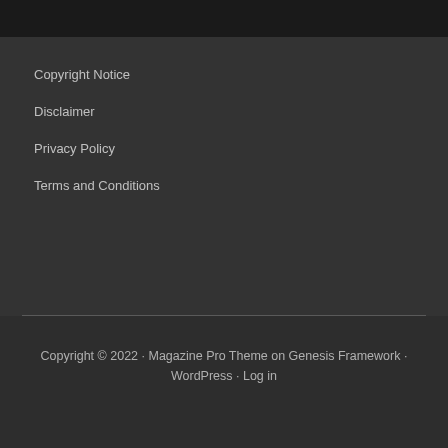Copyright Notice
Disclaimer
Privacy Policy
Terms and Conditions
Copyright © 2022 · Magazine Pro Theme on Genesis Framework · WordPress · Log in